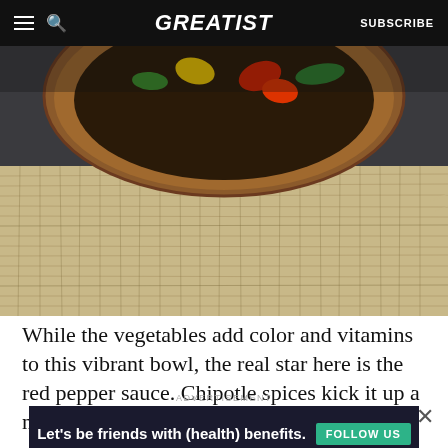GREATIST | SUBSCRIBE
[Figure (photo): A wooden bowl filled with colorful vegetables (red peppers, yellow peppers, green herbs) sitting on a burlap/hessian cloth against a dark background.]
While the vegetables add color and vitamins to this vibrant bowl, the real star here is the red pepper sauce. Chipotle spices kick it up a notch, while
ADVERTISEMENT
[Figure (infographic): Ad banner: Let's be friends with (health) benefits. Follow GREATIST on Instagram. [FOLLOW US button]]